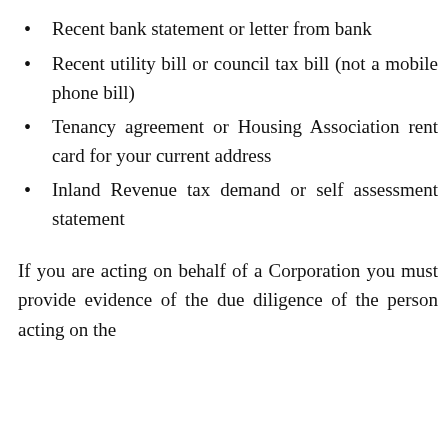Recent bank statement or letter from bank
Recent utility bill or council tax bill (not a mobile phone bill)
Tenancy agreement or Housing Association rent card for your current address
Inland Revenue tax demand or self assessment statement
If you are acting on behalf of a Corporation you must provide evidence of the due diligence of the person acting on the